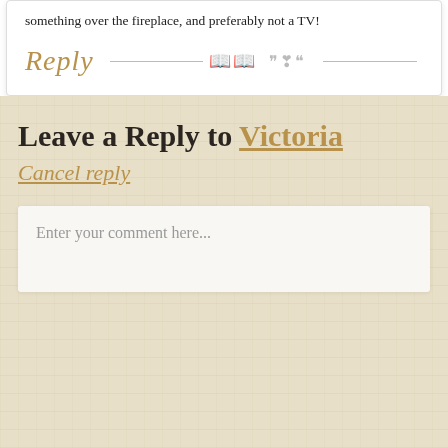something over the fireplace, and preferably not a TV!
[Figure (illustration): Decorative reply card element with cursive 'Reply' text in gold, horizontal lines, and a small ornamental flourish divider]
Leave a Reply to Victoria
Cancel reply
Enter your comment here...